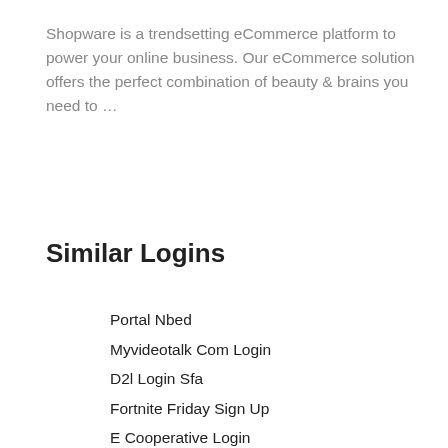Shopware is a trendsetting eCommerce platform to power your online business. Our eCommerce solution offers the perfect combination of beauty & brains you need to …
Similar Logins
Portal Nbed
Myvideotalk Com Login
D2l Login Sfa
Fortnite Friday Sign Up
E Cooperative Login
Applied Bank Login
Lexington Clinic Login
Txst Housing Portal
Old Portal Unpar